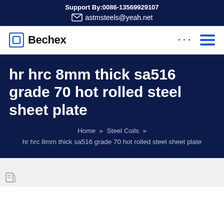Support By:0086-13569929107
astmsteels@yeah.net
[Figure (logo): Bechex logo with square icon]
hr hrc 8mm thick sa516 grade 70 hot rolled steel sheet plate
Home » Steel Coils » hr hrc 8mm thick sa516 grade 70 hot rolled steel sheet plate